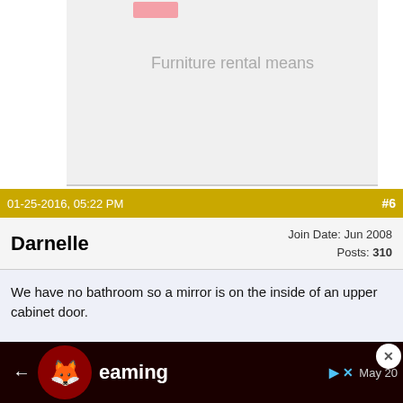[Figure (screenshot): Gray placeholder image area with pink button at top and faded text 'Furniture rental means']
01-25-2016, 05:22 PM  #6
Darnelle   Join Date: Jun 2008  Posts: 310
We have no bathroom so a mirror is on the inside of an upper cabinet door.
01-25-2016, 11:35 PM  #7